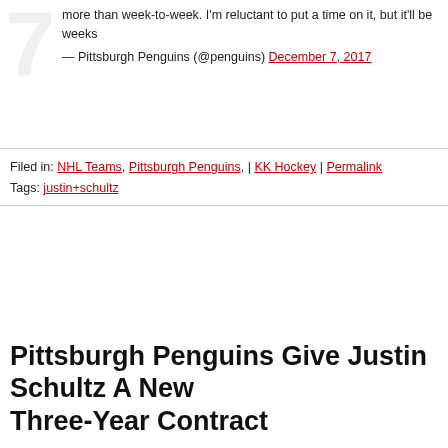more than week-to-week. I'm reluctant to put a time on it, but it'll be weeks
— Pittsburgh Penguins (@penguins) December 7, 2017
Filed in: NHL Teams, Pittsburgh Penguins, | KK Hockey | Permalink
Tags: justin+schultz
Pittsburgh Penguins Give Justin Schultz A New Three-Year Contract